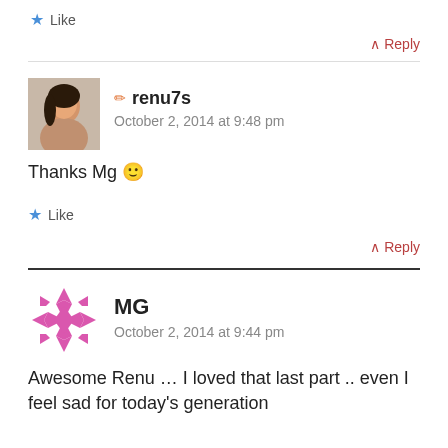Like
↑ Reply
renu7s — October 2, 2014 at 9:48 pm
Thanks Mg 🙂
Like
↑ Reply
MG — October 2, 2014 at 9:44 pm
Awesome Renu ... I loved that last part .. even I feel sad for today's generation